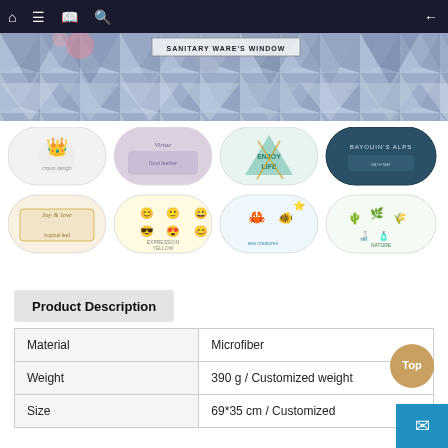Navigation bar with home, menu, book, search icons and back arrow
[Figure (illustration): Hero banner with geometric triangle mosaic pattern in blue/purple tones with text 'SANITARY WARE'S WINDOW']
[Figure (photo): Grid of 8 oval bath mat product thumbnails showing different designs: crown, floral/feather, Enjoy Life geometric, dark blue, gold tropical, yellow emoji expression, sea creatures, cactus/nature]
Product Description
| Property | Value |
| --- | --- |
| Material | Microfiber |
| Weight | 390 g / Customized weight |
| Size | 69*35 cm /  Customized |